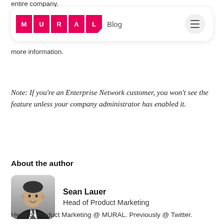entire company.
[Figure (logo): MURAL Blog navigation bar with pink MURAL logo tiles and hamburger menu]
more information.
Note: If you're an Enterprise Network customer, you won't see the feature unless your company administrator has enabled it.
About the author
[Figure (photo): Black and white headshot of Sean Lauer in a suit]
Sean Lauer
Head of Product Marketing
Head of Product Marketing @ MURAL. Previously @ Twitter.